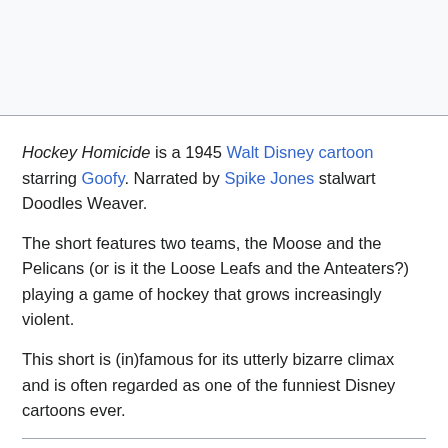Hockey Homicide is a 1945 Walt Disney cartoon starring Goofy. Narrated by Spike Jones stalwart Doodles Weaver.
The short features two teams, the Moose and the Pelicans (or is it the Loose Leafs and the Anteaters?) playing a game of hockey that grows increasingly violent.
This short is (in)famous for its utterly bizarre climax and is often regarded as one of the funniest Disney cartoons ever.
This cartoon contains examples of:
Aborted Arc: Played for Laughs. The narrator points out the heated rivalry between the team's respective star